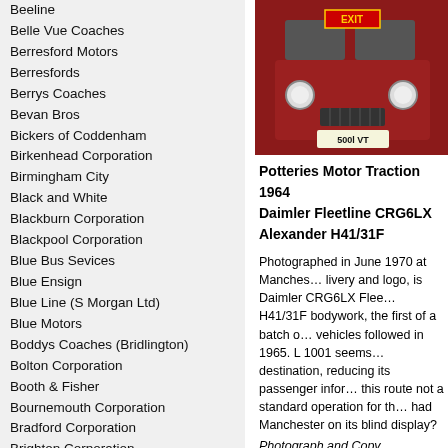Beeline
Belle Vue Coaches
Berresford Motors
Berresfords
Berrys Coaches
Bevan Bros
Bickers of Coddenham
Birkenhead Corporation
Birmingham City
Black and White
Blackburn Corporation
Blackpool Corporation
Blue Bus Sevices
Blue Ensign
Blue Line (S Morgan Ltd)
Blue Motors
Boddys Coaches (Bridlington)
Bolton Corporation
Booth & Fisher
Bournemouth Corporation
Bradford Corporation
Brighton Corporation
Brighton, Hove & District
Bristol Omnibus
Bristol Tramways
British European Airways
British Rail
Brown's Blue Bus
Brutonian
Burnham's Coaches
[Figure (photo): Red double-decker bus, Potteries Motor Traction, registration 500l VT, front view]
Potteries Motor Traction
1964
Daimler Fleetline CRG6LX
Alexander H41/31F
Photographed in June 1970 at Manches... livery and logo, is Daimler CRG6LX Flee... H41/31F bodywork, the first of a batch o... vehicles followed in 1965. L 1001 seems... destination, reducing its passenger infor... this route not a standard operation for th... had Manchester on its blind display?
Photograph and Copy contributed by Ro...
17/03/19 – 09:11
Yes Roger,
It should be able to show 'Manchester' i... and the second line would show X2 in B... shows 'Service') There are photos on th... and I have downloaded a copy of Fleetli... showing the full service blind that I refer... in busy times, the vehicle would have to... Street itself, prior to returning to load u...